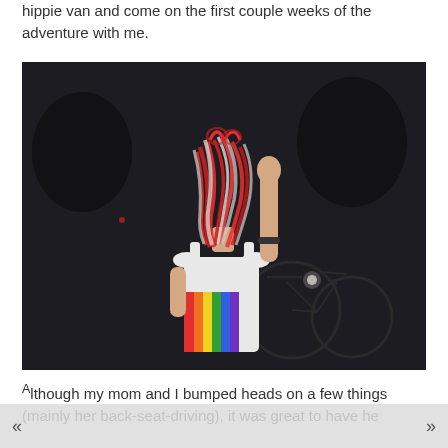hippie van and come on the first couple weeks of the adventure with me.
[Figure (photo): A person wearing a white tank top and rainbow sash, with colorful streamers covering their face, raising one arm in the air. A bicycle is visible in the dark background.]
Although my mom and I bumped heads on a few things (mainly her back-seat-driving), it was great to have he...